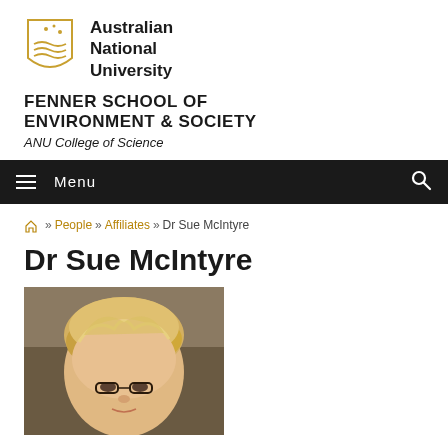Australian National University
FENNER SCHOOL OF ENVIRONMENT & SOCIETY
ANU College of Science
Menu
» People » Affiliates » Dr Sue McIntyre
Dr Sue McIntyre
[Figure (photo): Headshot photo of Dr Sue McIntyre, a woman with short blonde hair]